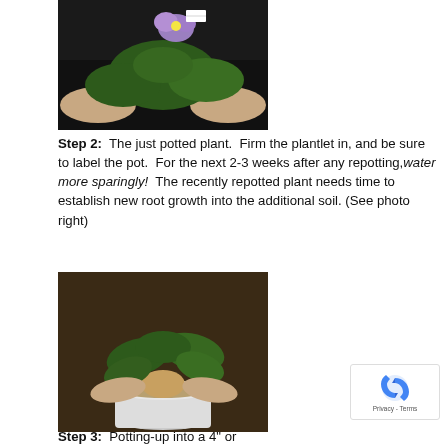[Figure (photo): Hands holding a small plant with purple flower and large green leaves against a dark background]
Step 2:  The just potted plant.  Firm the plantlet in, and be sure to label the pot.  For the next 2-3 weeks after any repotting, water more sparingly!  The recently repotted plant needs time to establish new root growth into the additional soil. (See photo right)
[Figure (photo): Hands holding a small plant with green leaves placed in a small white pot filled with soil/gravel]
[Figure (photo): reCAPTCHA privacy badge]
Step 3:  Potting-up into a 4" or